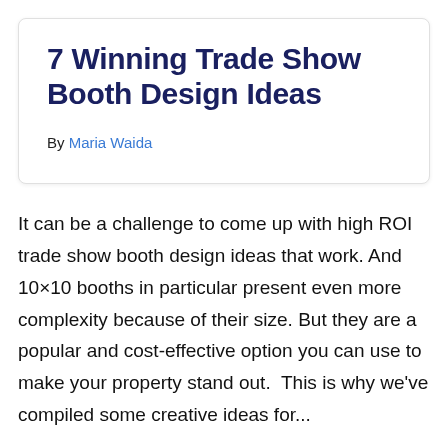7 Winning Trade Show Booth Design Ideas
By Maria Waida
It can be a challenge to come up with high ROI trade show booth design ideas that work. And 10×10 booths in particular present even more complexity because of their size. But they are a popular and cost-effective option you can use to make your property stand out.  This is why we've compiled some creative ideas for...